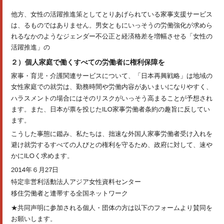他方、女性の活躍推進策としてとりあげられている家事支援サービスは、るものではありません。男女ともにいっそうの労働強化が求められるなかのようなジェンダー不公正と経済格差を増幅させる「女性の活躍推進」の
２）個人家庭で働くすべての労働者に権利保障を
家事・育児・介護関連サービスについて、「日本再興戦略」は地域の女性家庭での就労は、勤務時間や労働内容があいまいになりやすく、ハラスメントの場合にはそのリスクがいっそう高まることが予想されます。また、日本が票を投じたILO家事労働者条約の趣旨に反しています。
こうした事態に鑑み、私たちは、拙速な外国人家事労働者受け入れを避け就労するすべての人びとの権利を守るため、政府に対して、速やかにILOく求めます。
2014年６月27日
特定非営利活動法人アジア女性資料センター
移住労働者と連帯する全国ネットワーク
★共同声明に参加される個人・団体の方は以下のフォームより賛同をお願いします。なお、頂いた個人情報は、本署名活動以外には使用しません。賛同〆切は７月６日（月）です。